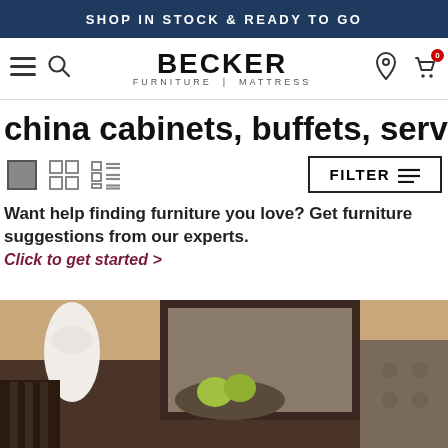SHOP IN STOCK & READY TO GO
[Figure (logo): Becker Furniture Mattress logo with hamburger menu, search, location, and cart icons in navigation bar]
china cabinets, buffets, servers
[Figure (infographic): View toggle icons (single large, 4-grid, list) and FILTER button with horizontal lines icon]
Want help finding furniture you love? Get furniture suggestions from our experts.
Click to get started  >
[Figure (photo): Photo of a dark wood buffet/server with a white vase, decorative bowl with apples, framed mirror, and upholstered chair]